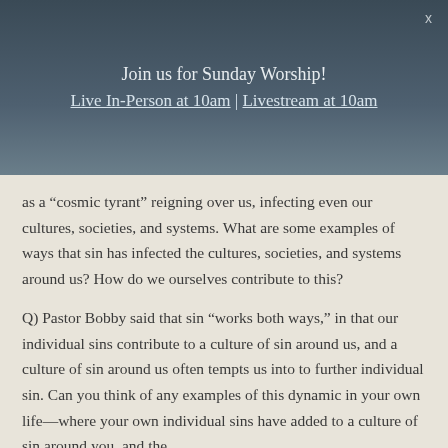Join us for Sunday Worship!
Live In-Person at 10am | Livestream at 10am
as a “cosmic tyrant” reigning over us, infecting even our cultures, societies, and systems. What are some examples of ways that sin has infected the cultures, societies, and systems around us? How do we ourselves contribute to this?
Q) Pastor Bobby said that sin “works both ways,” in that our individual sins contribute to a culture of sin around us, and a culture of sin around us often tempts us into to further individual sin. Can you think of any examples of this dynamic in your own life—where your own individual sins have added to a culture of sin around you, and the